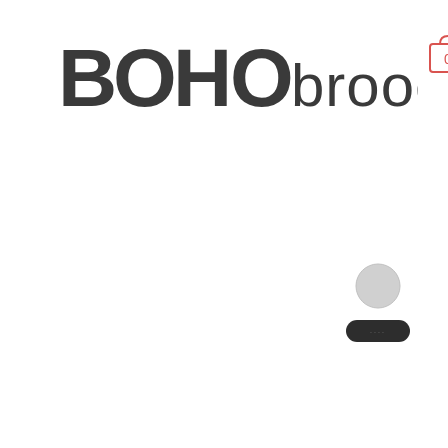[Figure (logo): BOHO brooches logo with bold dark stylized uppercase BOHO letters followed by lowercase 'brooches' in lighter weight, and a shopping cart icon with '0' in pink/red on the right side]
[Figure (other): User account icon - a grey circle (head) above a dark rounded rectangle (shoulders/body), resembling a person silhouette with a partially visible dark button/label below]